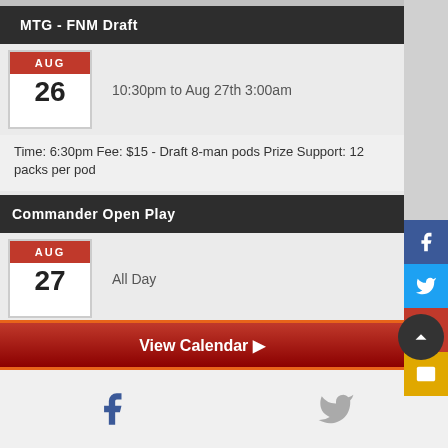MTG - FNM Draft | AUG 26 | 10:30pm to Aug 27th 3:00am | Time: 6:30pm Fee: $15 - Draft 8-man pods Prize Support: 12 packs per pod
Commander Open Play | AUG 27 | All Day
MTG MODERN EVENT | AUG 28 | 4:30pm - 8:30pm | $5 entry fee. $5 store credit, per entry, into prize pool.
MTG - Monday Pioneer | AUG 29 | 10:30pm to Aug 30th 2:00am
View Calendar ▶